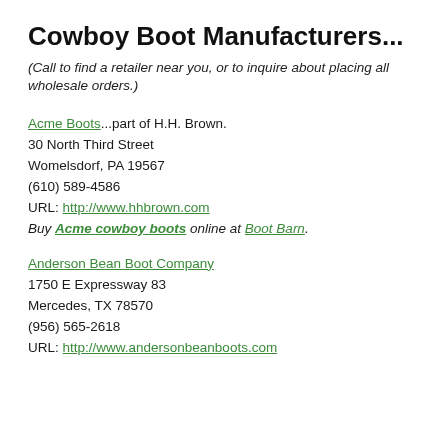Cowboy Boot Manufacturers...
(Call to find a retailer near you, or to inquire about placing all wholesale orders.)
Acme Boots...part of H.H. Brown.
30 North Third Street
Womelsdorf, PA 19567
(610) 589-4586
URL: http://www.hhbrown.com
Buy Acme cowboy boots online at Boot Barn.
Anderson Bean Boot Company
1750 E Expressway 83
Mercedes, TX 78570
(956) 565-2618
URL: http://www.andersonbeanboots.com